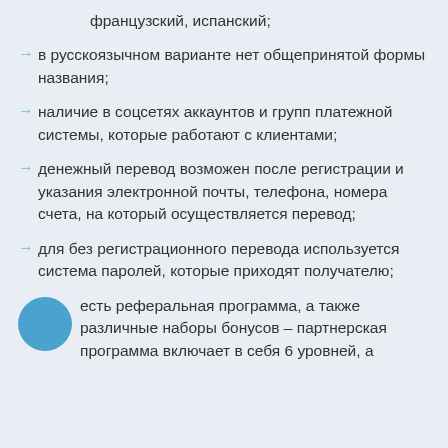французский, испанский;
в русскоязычном варианте нет общепринятой формы названия;
наличие в соцсетях аккаунтов и групп платежной системы, которые работают с клиентами;
денежный перевод возможен после регистрации и указания электронной почты, телефона, номера счета, на который осуществляется перевод;
для без регистрационного перевода используется система паролей, которые приходят получателю;
есть реферальная программа, а также различные наборы бонусов – партнерская программа включает в себя 6 уровней, а